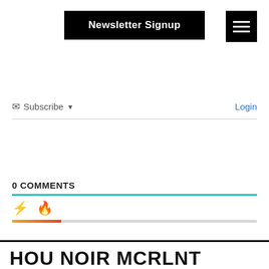Newsletter Signup
Subscribe  Login
0 COMMENTS
[Figure (other): Two tab icons: a lightning bolt (yellow) and a fire icon (orange-red), with a gradient progress bar below them in yellow-to-red, and a teal horizontal rule above.]
HOU NOIR MCRLNT